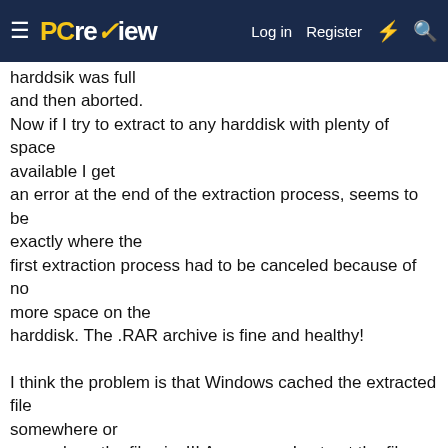PC review — Log in  Register
harddsik was full and then aborted.
Now if I try to extract to any harddisk with plenty of space available I get
an error at the end of the extraction process, seems to be exactly where the
first extraction process had to be canceled because of no more space on the
harddisk. The .RAR archive is fine and healthy!

I think the problem is that Windows cached the extracted file somewhere or
remembers the file size!!! As soon as I extract the file again it has its
full size on the disk! BUT when I first extracted the file, you could see
that it started as small file and became bigger and bigger! Now it starts as
full sized file. I hope you understand what I mean ;-)
My question is, where is Windows putting or caching this file